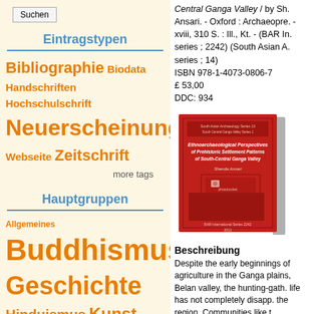Suchen
Eintragstypen
Bibliographie Biodata Handschriften Hochschulschrift Neuerscheinung Webseite Zeitschrift more tags
Hauptgruppen
Allgemeines Buddhismus Geschichte Hinduismus Kunst und Medien Literaturgeschichte Philosophie Politik Religion Sanskrit
Central Ganga Valley / by Sh. Ansari. - Oxford : Archaeopre. - xviii, 310 S. : Ill., Kt. - (BAR In. series ; 2242) (South Asian A. series ; 14)
ISBN 978-1-4073-0806-7
£ 53,00
DDC: 934
[Figure (photo): Red book cover of Ethnoarchaeological Perspectives of Prehistoric Settlement Patterns of South-Central Ganga Valley by Shenda Ansari]
Beschreibung
Despite the early beginnings of agriculture in the Ganga plains, Belan valley, the hunting-gath. life has not completely disapp. the region. Communities like t. Musahars live almost entirely...